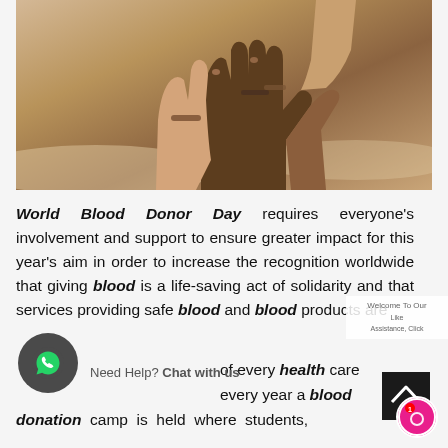[Figure (photo): Photo of multiple diverse hands stacked together on top of each other, wearing bracelets, against a sandy background — symbolizing unity and solidarity for World Blood Donor Day.]
World Blood Donor Day requires everyone's involvement and support to ensure greater impact for this year's aim in order to increase the recognition worldwide that giving blood is a life-saving act of solidarity and that services providing safe blood and blood products are [an essential component] of every health care [system. Every] every year a blood donation camp is held where students,